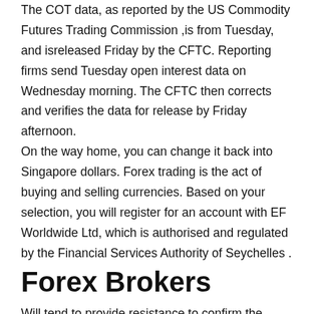The COT data, as reported by the US Commodity Futures Trading Commission ,is from Tuesday, and isreleased Friday by the CFTC. Reporting firms send Tuesday open interest data on Wednesday morning. The CFTC then corrects and verifies the data for release by Friday afternoon. On the way home, you can change it back into Singapore dollars. Forex trading is the act of buying and selling currencies. Based on your selection, you will register for an account with EF Worldwide Ltd, which is authorised and regulated by the Financial Services Authority of Seychelles .
Forex Brokers
Will tend to provide resistance to confirm the downward move. Will tend to provide support to confirm the upward move, and so on. Will tend to...